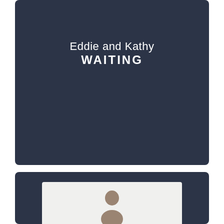Eddie and Kathy
WAITING
[Figure (photo): A dark navy card panel showing a partial view of a person at the bottom, with a white/light background inner frame suggesting a video or photo thumbnail.]